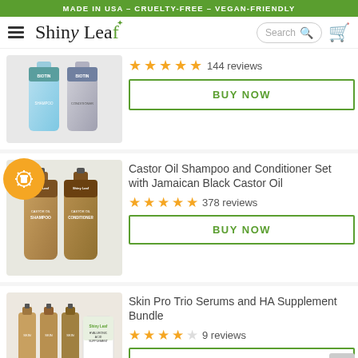MADE IN USA – CRUELTY-FREE – VEGAN-FRIENDLY
[Figure (logo): Shiny Leaf brand logo with hamburger menu, search bar, and cart icon]
[Figure (photo): Biotin shampoo and conditioner set bottles in teal/silver]
144 reviews
BUY NOW
Castor Oil Shampoo and Conditioner Set with Jamaican Black Castor Oil
[Figure (photo): Castor Oil Shampoo and Conditioner set bottles with gift badge]
378 reviews
BUY NOW
Skin Pro Trio Serums and HA Supplement Bundle
[Figure (photo): Three serum bottles and HA supplement bottle]
9 reviews
BUY NOW